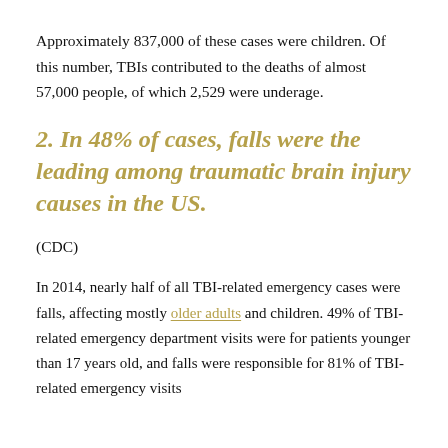Approximately 837,000 of these cases were children. Of this number, TBIs contributed to the deaths of almost 57,000 people, of which 2,529 were underage.
2. In 48% of cases, falls were the leading among traumatic brain injury causes in the US.
(CDC)
In 2014, nearly half of all TBI-related emergency cases were falls, affecting mostly older adults and children. 49% of TBI-related emergency department visits were for patients younger than 17 years old, and falls were responsible for 81% of TBI-related emergency visits